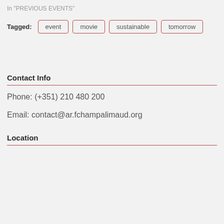In "PREVIOUS EVENTS"
Tagged: event movie sustainable tomorrow
Contact Info
Phone: (+351) 210 480 200
Email: contact@ar.fchampalimaud.org
Location